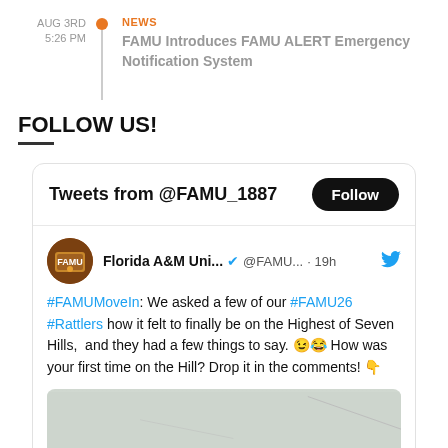AUG 3RD
5:26 PM
NEWS
FAMU Introduces FAMU ALERT Emergency Notification System
FOLLOW US!
[Figure (screenshot): Twitter widget showing Tweets from @FAMU_1887 with a Follow button and a tweet from Florida A&M University about #FAMUMoveIn]
#FAMUMoveIn: We asked a few of our #FAMU26 #Rattlers how it felt to finally be on the Highest of Seven Hills, and they had a few things to say. 😉😂 How was your first time on the Hill? Drop it in the comments! 👇